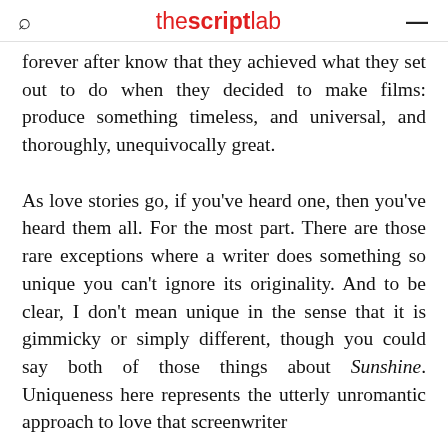thescriptlab
forever after know that they achieved what they set out to do when they decided to make films: produce something timeless, and universal, and thoroughly, unequivocally great.
As love stories go, if you've heard one, then you've heard them all. For the most part. There are those rare exceptions where a writer does something so unique you can't ignore its originality. And to be clear, I don't mean unique in the sense that it is gimmicky or simply different, though you could say both of those things about Sunshine. Uniqueness here represents the utterly unromantic approach to love that screenwriter